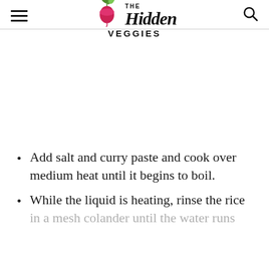THE Hidden VEGGIES
Add salt and curry paste and cook over medium heat until it begins to boil.
While the liquid is heating, rinse the rice in a mesh colander until the water runs